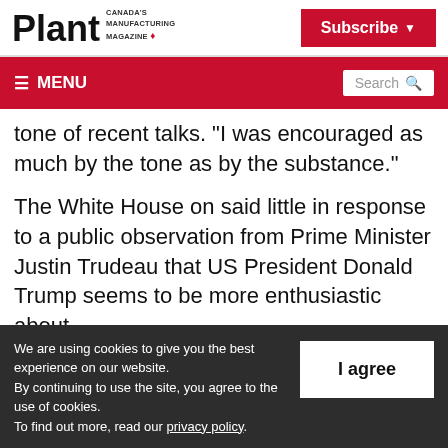Plant — Canada's Manufacturing Magazine
tone of recent talks. "I was encouraged as much by the tone as by the substance."
The White House on said little in response to a public observation from Prime Minister Justin Trudeau that US President Donald Trump seems to be more enthusiastic about
We are using cookies to give you the best experience on our website.
By continuing to use the site, you agree to the use of cookies.
To find out more, read our privacy policy.